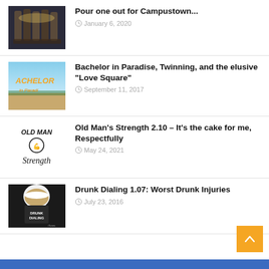[Figure (photo): Photo of beer bottles being held up]
Pour one out for Campustown...
January 6, 2020
[Figure (photo): Bachelor in Paradise show logo with beach background]
Bachelor in Paradise, Twinning, and the elusive “Love Square”
September 11, 2017
[Figure (logo): Old Man Strength logo with illustrated strongman]
Old Man’s Strength 2.10 – It’s the cake for me, Respectfully
May 24, 2021
[Figure (photo): Drunk Dialing podcast logo with beer mug]
Drunk Dialing 1.07: Worst Drunk Injuries
July 23, 2016